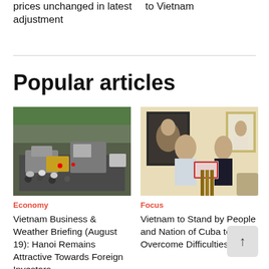prices unchanged in latest adjustment
to Vietnam
Popular articles
[Figure (photo): Busy street traffic in Hanoi with motorcycles and vehicles]
Economy
Vietnam Business & Weather Briefing (August 19): Hanoi Remains Attractive Towards Foreign Investors
[Figure (photo): Two people exchanging a framed document, portraits on wall behind them]
Focus
Vietnam to Stand by People and Nation of Cuba to Overcome Difficulties